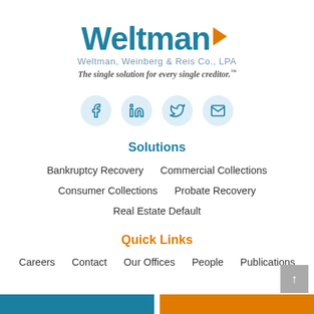[Figure (logo): Weltman logo with teal text and orange arrow, tagline below]
[Figure (infographic): Four social media icons in light blue circles: Facebook, LinkedIn, Twitter, Email]
Solutions
Bankruptcy Recovery
Commercial Collections
Consumer Collections
Probate Recovery
Real Estate Default
Quick Links
Careers
Contact
Our Offices
People
Publications